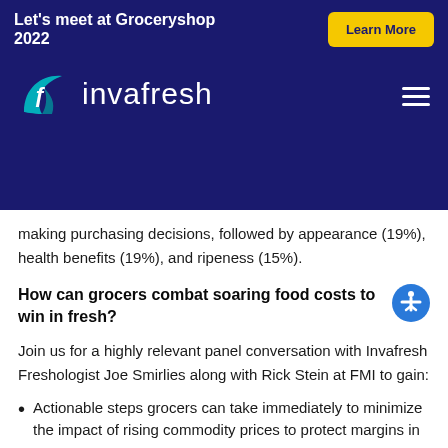Let's meet at Groceryshop 2022
[Figure (logo): Invafresh logo with teal leaf icon and white wordmark on dark blue background]
making purchasing decisions, followed by appearance (19%), health benefits (19%), and ripeness (15%).
How can grocers combat soaring food costs to win in fresh?
Join us for a highly relevant panel conversation with Invafresh Freshologist Joe Smirlies along with Rick Stein at FMI to gain:
Actionable steps grocers can take immediately to minimize the impact of rising commodity prices to protect margins in 2022.
The safeguards against the challenges of inflation